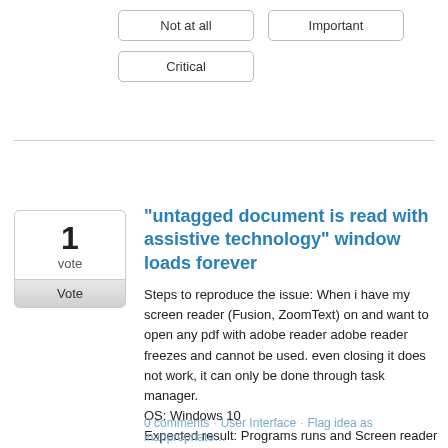Not at all
Important
Critical
"untagged document is read with assistive technology" window loads forever
Steps to reproduce the issue: When i have my screen reader (Fusion, ZoomText) on and want to open any pdf with adobe reader adobe reader freezes and cannot be used. even closing it does not work, it can only be done through task manager. OS: Windows 10 Expected result: Programs runs and Screen reader reads the pdf. Observed result: Adobe reader freezes and never comes alive again.
0 comments · User Interface · Flag idea as inappropriate…